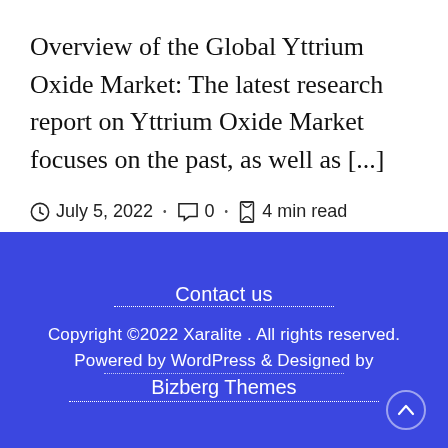Overview of the Global Yttrium Oxide Market: The latest research report on Yttrium Oxide Market focuses on the past, as well as [...]
July 5, 2022 · 0 · 4 min read
Contact us
Copyright ©2022 Xaralite . All rights reserved.
Powered by WordPress & Designed by Bizberg Themes